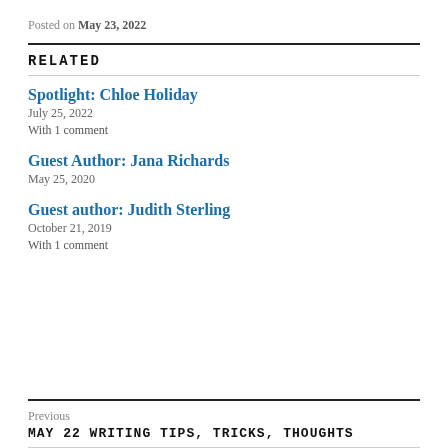Posted on May 23, 2022
RELATED
Spotlight: Chloe Holiday
July 25, 2022
With 1 comment
Guest Author: Jana Richards
May 25, 2020
Guest author: Judith Sterling
October 21, 2019
With 1 comment
Previous
MAY 22 WRITING TIPS, TRICKS, THOUGHTS